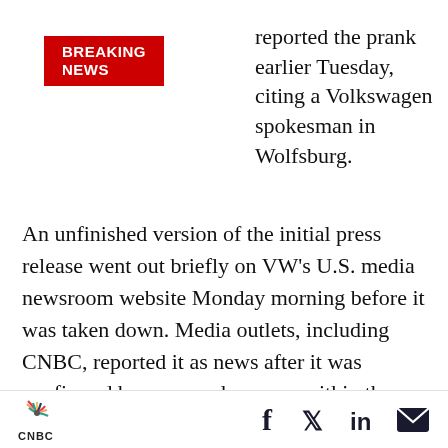[Figure (logo): Breaking News red banner label]
reported the prank earlier Tuesday, citing a Volkswagen spokesman in Wolfsburg.
An unfinished version of the initial press release went out briefly on VW’s U.S. media newsroom website Monday morning before it was taken down. Media outlets, including CNBC, reported it as news after it was confirmed by unnamed sources within the company, who apparently lied to several reporters.
The release said the name change is expected to take effect in May and called the change a “publi
CNBC | social icons: Facebook, Twitter, LinkedIn, Email